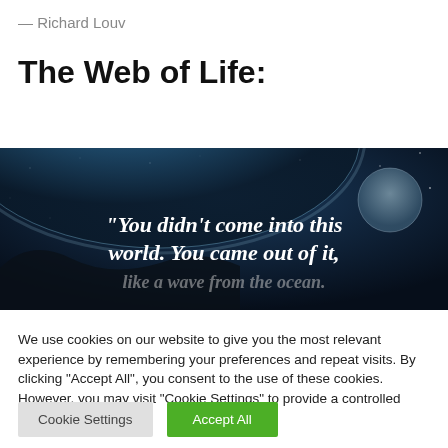— Richard Louv
The Web of Life:
[Figure (photo): Dark space/earth image with white bold italic text overlay reading: “You didn’t come into this world. You came out of it,]
We use cookies on our website to give you the most relevant experience by remembering your preferences and repeat visits. By clicking “Accept All”, you consent to the use of these cookies. However, you may visit "Cookie Settings" to provide a controlled consent.